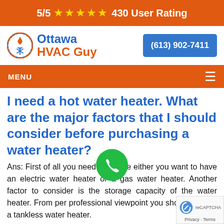5/5 ★★★★★ 430 User Rating
[Figure (logo): Ottawa HVAC Guy logo with circular flame/snowflake icon, company name in blue and orange, and blue phone button showing (613) 902-7411]
MENU
I need a hot water heater. What are the major factors that I should consider before purchasing a water heater?
Ans: First of all you need to decide either you want to have an electric water heater or a gas water heater. Another factor to consider is the storage capacity of the water heater. From per professional viewpoint you should go with a tankless water heater.